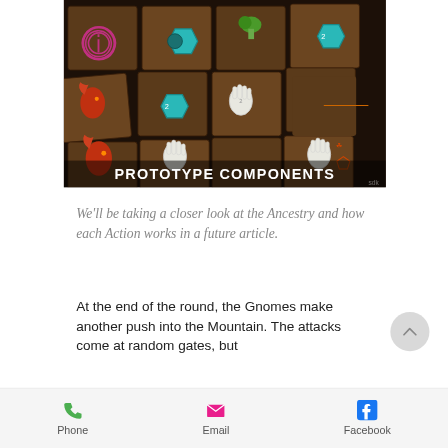[Figure (photo): Photograph of board game prototype components laid out on a table — brown square tiles with various colorful symbols including spirals, shields, hands, mushrooms. Text overlay reads 'PROTOTYPE COMPONENTS' in white bold font at bottom center.]
We'll be taking a closer look at the Ancestry and how each Action works in a future article.
At the end of the round, the Gnomes make another push into the Mountain. The attacks come at random gates, but
Phone  Email  Facebook